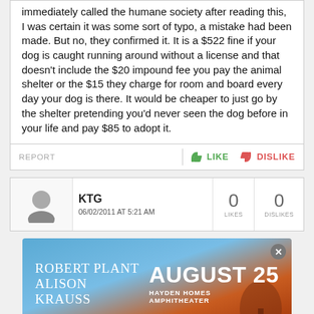immediately called the humane society after reading this, I was certain it was some sort of typo, a mistake had been made. But no, they confirmed it. It is a $522 fine if your dog is caught running around without a license and that doesn't include the $20 impound fee you pay the animal shelter or the $15 they charge for room and board every day your dog is there. It would be cheaper to just go by the shelter pretending you'd never seen the dog before in your life and pay $85 to adopt it.
REPORT   LIKE   DISLIKE
KTG
06/02/2011 AT 5:21 AM
0 LIKES   0 DISLIKES
[Figure (advertisement): Ad for Robert Plant and Alison Krauss concert on August 25 at Hayden Homes Amphitheater, with blue-to-orange gradient background]